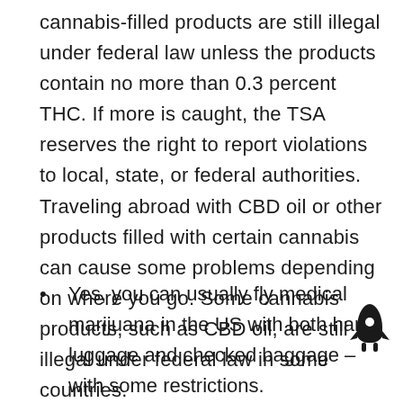cannabis-filled products are still illegal under federal law unless the products contain no more than 0.3 percent THC. If more is caught, the TSA reserves the right to report violations to local, state, or federal authorities. Traveling abroad with CBD oil or other products filled with certain cannabis can cause some problems depending on where you go. Some cannabis products, such as CBD oil, are still illegal under federal law in some countries.
Yes, you can usually fly medical marijuana in the US with both hand luggage and checked baggage – with some restrictions.
They have a responsibility to ensure the safety of travelers, so they check